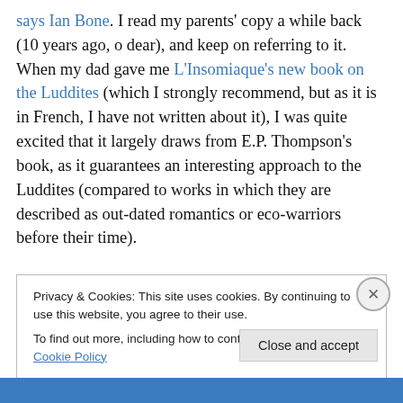says Ian Bone. I read my parents' copy a while back (10 years ago, o dear), and keep on referring to it. When my dad gave me L'Insomiaque's new book on the Luddites (which I strongly recommend, but as it is in French, I have not written about it), I was quite excited that it largely draws from E.P. Thompson's book, as it guarantees an interesting approach to the Luddites (compared to works in which they are described as out-dated romantics or eco-warriors before their time).
The Making Of The English Working Class does what it
Privacy & Cookies: This site uses cookies. By continuing to use this website, you agree to their use.
To find out more, including how to control cookies, see here: Cookie Policy
Close and accept